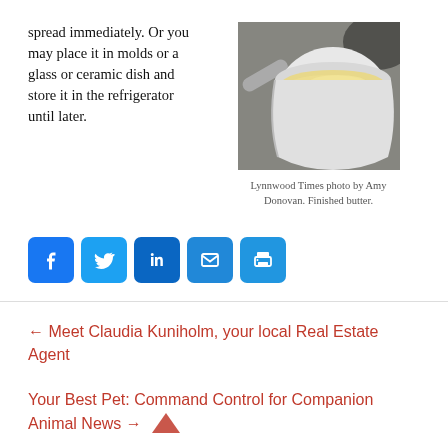spread immediately. Or you may place it in molds or a glass or ceramic dish and store it in the refrigerator until later.
[Figure (photo): Photo of finished butter in a white bowl/cup viewed from above, placed on a dark surface with a spoon visible.]
Lynnwood Times photo by Amy Donovan. Finished butter.
[Figure (infographic): Social media share buttons: Facebook, Twitter, LinkedIn, Email, Print]
← Meet Claudia Kuniholm, your local Real Estate Agent
Your Best Pet: Command Control for Companion Animal News →